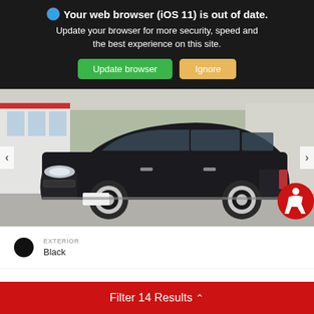Your web browser (iOS 11) is out of date. Update your browser for more security, speed and the best experience on this site.
Update browser
Ignore
[Figure (photo): Black Toyota RAV4 SUV parked in a dealership lot, front three-quarter view, with dealership building visible in background]
EXTERIOR
Black
Filter 14 Results ∧